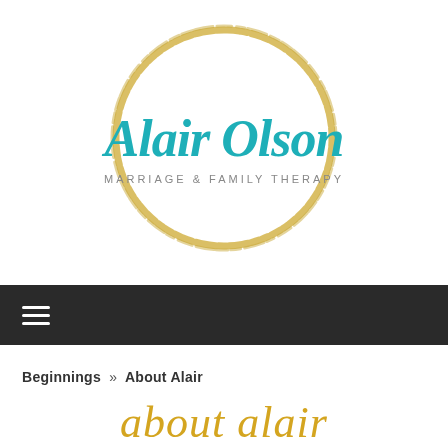[Figure (logo): Alair Olson Marriage & Family Therapy logo: teal cursive text 'Alair Olson' with a gold hand-drawn circle, and 'MARRIAGE & FAMILY THERAPY' in grey sans-serif below]
[Figure (other): Dark navigation bar with three horizontal white lines (hamburger menu icon) on the left]
Beginnings >> About Alair
about alair